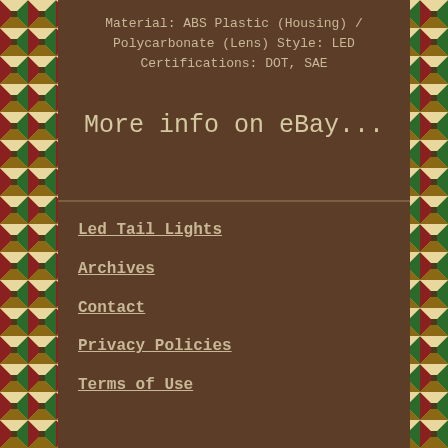Material: ABS Plastic (Housing) / Polycarbonate (Lens) Style: LED Certifications: DOT, SAE
More info on eBay...
Led Tail Lights
Archives
Contact
Privacy Policies
Terms of Use